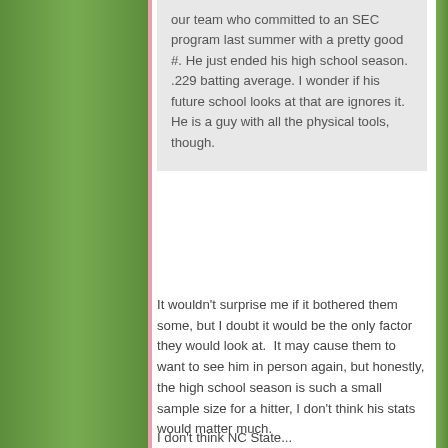our team who committed to an SEC program last summer with a pretty good #. He just ended his high school season. .229 batting average. I wonder if his future school looks at that are ignores it. He is a guy with all the physical tools, though.
It wouldn't surprise me if it bothered them some, but I doubt it would be the only factor they would look at.  It may cause them to want to see him in person again, but honestly, the high school season is such a small sample size for a hitter, I don't think his stats would matter much.
I don't think NC State...